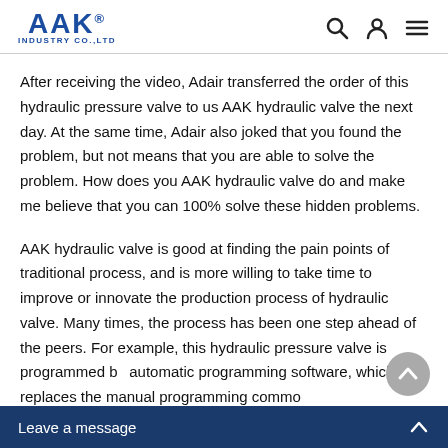AAK® INDUSTRY CO.,LTD
After receiving the video, Adair transferred the order of this hydraulic pressure valve to us AAK hydraulic valve the next day. At the same time, Adair also joked that you found the problem, but not means that you are able to solve the problem. How does you AAK hydraulic valve do and make me believe that you can 100% solve these hidden problems.
AAK hydraulic valve is good at finding the pain points of traditional process, and is more willing to take time to improve or innovate the production process of hydraulic valve. Many times, the process has been one step ahead of the peers. For example, this hydraulic pressure valve is programmed by automatic programming software, which replaces the manual programming commo...